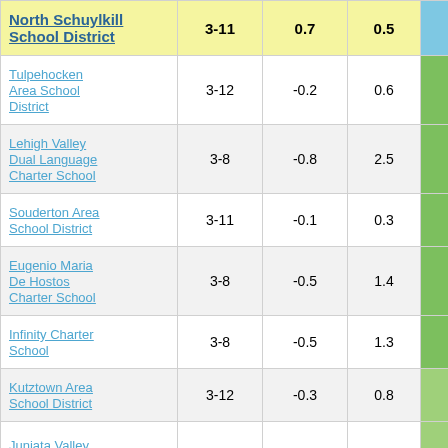| School/District | Grades | Col3 | Col4 | Score |
| --- | --- | --- | --- | --- |
| North Schuylkill School District | 3-11 | 0.7 | 0.5 | 1.30 |
| Tulpehocken Area School District | 3-12 | -0.2 | 0.6 | -0.31 |
| Lehigh Valley Dual Language Charter School | 3-8 | -0.8 | 2.5 | -0.32 |
| Souderton Area School District | 3-11 | -0.1 | 0.3 | -0.36 |
| Eugenio Maria De Hostos Charter School | 3-8 | -0.5 | 1.4 | -0.37 |
| Infinity Charter School | 3-8 | -0.5 | 1.3 | -0.40 |
| Kutztown Area School District | 3-12 | -0.3 | 0.8 | -0.40 |
| Juniata Valley |  |  |  |  |